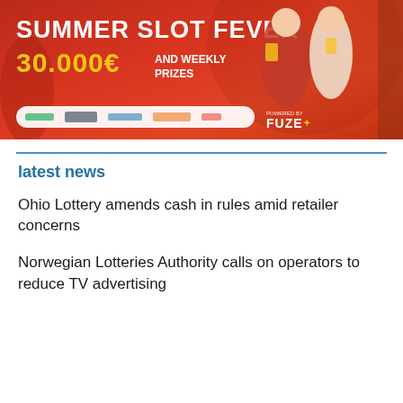[Figure (illustration): Summer Slot Fever promotional banner with red gradient background, showing '30.000€ AND WEEKLY PRIZES' text, casino game characters, partner logos bar, and 'POWERED BY FUZE' text]
latest news
Ohio Lottery amends cash in rules amid retailer concerns
Norwegian Lotteries Authority calls on operators to reduce TV advertising